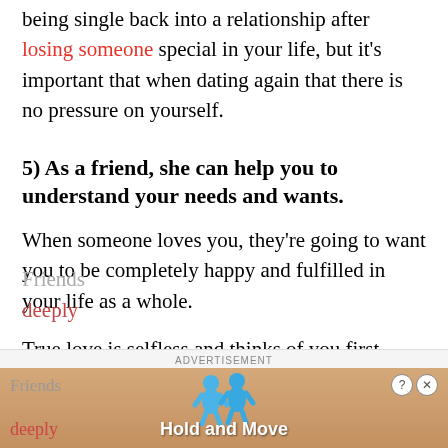being single back into a relationship after losing someone special in your life, but it's important that when dating again that there is no pressure on yourself.
5) As a friend, she can help you to understand your needs and wants.
When someone loves you, they're going to want you to be completely happy and fulfilled in your life as a whole.
True love is selfless and thinks of you first, before thinking of themselves at all times.
Friends deeply
[Figure (other): Advertisement banner showing 'Hold and Move' game ad with two blue cartoon characters, sandy/wooden background, close and help buttons]